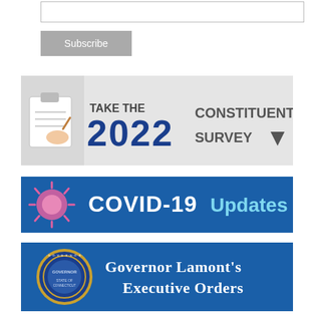[Figure (screenshot): Text input field (subscribe form)]
[Figure (screenshot): Subscribe button]
[Figure (infographic): Banner reading TAKE THE 2022 CONSTITUENT SURVEY with clipboard illustration and cursor arrow]
[Figure (infographic): Banner reading COVID-19 Updates with virus illustration on blue background]
[Figure (infographic): Banner reading Governor Lamont's Executive Orders with Connecticut Governor seal on blue background]